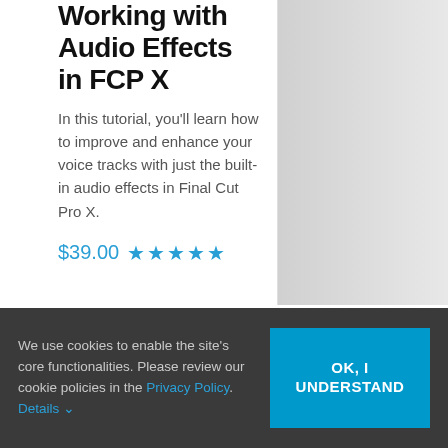Working with Audio Effects in FCP X
In this tutorial, you'll learn how to improve and enhance your voice tracks with just the built-in audio effects in Final Cut Pro X.
$39.00 ★★★★★
We use cookies to enable the site's core functionalities. Please review our cookie policies in the Privacy Policy. Details ▾
OK, I UNDERSTAND